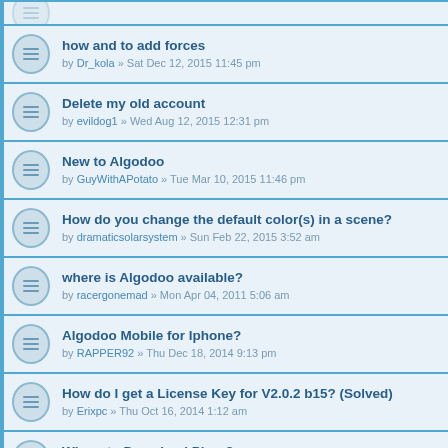how and to add forces
by Dr_kola » Sat Dec 12, 2015 11:45 pm
Delete my old account
by evildog1 » Wed Aug 12, 2015 12:31 pm
New to Algodoo
by GuyWithAPotato » Tue Mar 10, 2015 11:46 pm
How do you change the default color(s) in a scene?
by dramaticsolarsystem » Sun Feb 22, 2015 3:52 am
where is Algodoo available?
by racergonemad » Mon Apr 04, 2011 5:06 am
Algodoo Mobile for Iphone?
by RAPPER92 » Thu Dec 18, 2014 9:13 pm
How do I get a License Key for V2.0.2 b15? (Solved)
by Erixpc » Thu Oct 16, 2014 1:12 am
Where to Download Phun?
by Dare » Sat Mar 12, 2011 4:37 pm
How to access scene.my.variables
by mitbrown » Mon Jul 21, 2014 10:54 pm